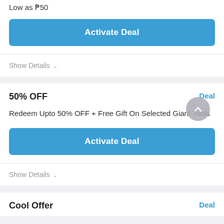Low as ₱50
Activate Deal
Show Details ∨
50% OFF
Deal
Redeem Upto 50% OFF + Free Gift On Selected Giant Tools
Activate Deal
Show Details ∨
Cool Offer
Deal